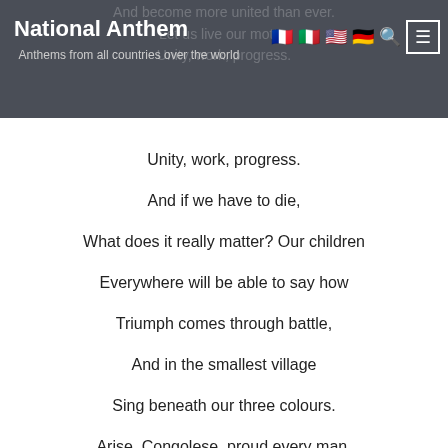National Anthem — Anthems from all countries over the world
Unity, work, progress.

And if we have to die,
What does it really matter? Our children
Everywhere will be able to say how
Triumph comes through battle,
And in the smallest village
Sing beneath our three colours.

Arise, Congolese, proud every man,
Proclaim the unity of our nation.
Let us forget what divides us
And become more united than ever.
Let us live our motto:
Unity, work, progress.